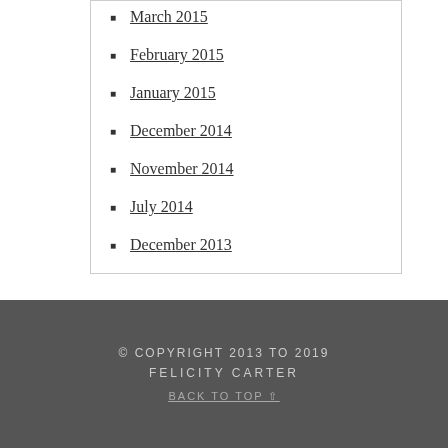March 2015
February 2015
January 2015
December 2014
November 2014
July 2014
December 2013
© COPYRIGHT 2013 TO 2019 FELICITY CARTER BACK TO TOP ▲